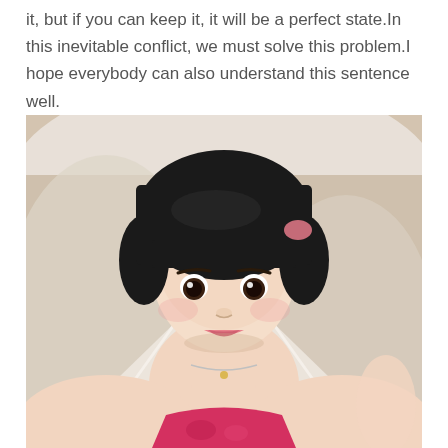it, but if you can keep it, it will be a perfect state.In this inevitable conflict, we must solve this problem.I hope everybody can also understand this sentence well.
[Figure (photo): A young woman with a black bowl-cut hairstyle wearing a pink/red patterned top and a silver necklace, taking a selfie from above. She is seated on or near white fabric, looking up at the camera.]